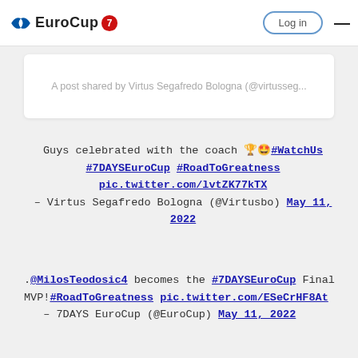EuroCup — Log in
A post shared by Virtus Segafredo Bologna (@virtusseg...
Guys celebrated with the coach 🏆🤩#WatchUs #7DAYSEuroCup #RoadToGreatness pic.twitter.com/lvtZK77kTX – Virtus Segafredo Bologna (@Virtusbo) May 11, 2022
.@MilosTeodosic4 becomes the #7DAYSEuroCup Final MVP!#RoadToGreatness pic.twitter.com/ESeCrHF8At – 7DAYS EuroCup (@EuroCup) May 11, 2022